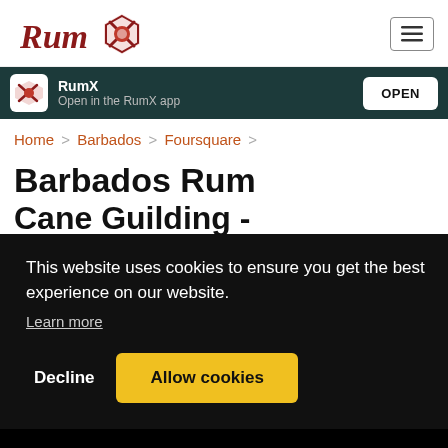[Figure (logo): RumX logo with stylized script text 'Rum' and an icon]
[Figure (other): Hamburger menu button icon (three horizontal lines)]
RumX
Open in the RumX app
OPEN
Home > Barbados > Foursquare >
Barbados Rum
Cane Guiding - Foursquare
This website uses cookies to ensure you get the best experience on our website.
Learn more
Decline
Allow cookies